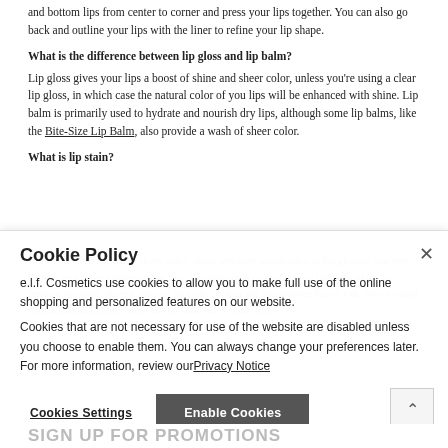and bottom lips from center to corner and press your lips together. You can also go back and outline your lips with the liner to refine your lip shape.
What is the difference between lip gloss and lip balm?
Lip gloss gives your lips a boost of shine and sheer color, unless you're using a clear lip gloss, in which case the natural color of you lips will be enhanced with shine. Lip balm is primarily used to hydrate and nourish dry lips, although some lip balms, like the Bite-Size Lip Balm, also provide a wash of sheer color.
What is lip stain?
Lip stains offer the same sheer color, shine and easy application as lip glosses, but they tend to be longer-lasting on the lips. Lip stain won't transfer onto fabric or skin. To remove lip stain, place a drop of face oil, such as the Nourishing Facial Oil, onto a damp cotton ball and gently wipe the lip stain off of your lips.
Cookie Policy
e.l.f. Cosmetics use cookies to allow you to make full use of the online shopping and personalized features on our website. Cookies that are not necessary for use of the website are disabled unless you choose to enable them. You can always change your preferences later. For more information, review our Privacy Notice
Cookies Settings  Enable Cookies
SIGN UP FOR PROMOTIONS